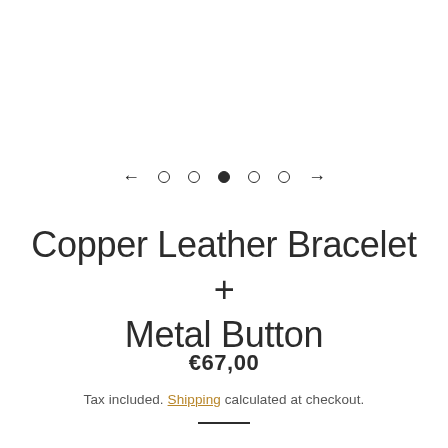[Figure (other): Image carousel navigation with left arrow, 5 dots (third filled), right arrow]
Copper Leather Bracelet + Metal Button
€67,00
Tax included. Shipping calculated at checkout.